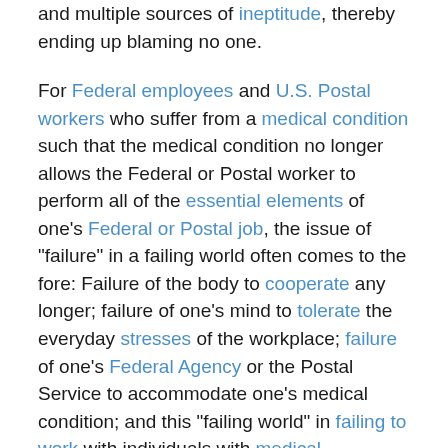and multiple sources of ineptitude, thereby ending up blaming no one.
For Federal employees and U.S. Postal workers who suffer from a medical condition such that the medical condition no longer allows the Federal or Postal worker to perform all of the essential elements of one's Federal or Postal job, the issue of "failure" in a failing world often comes to the fore: Failure of the body to cooperate any longer; failure of one's mind to tolerate the everyday stresses of the workplace; failure of one's Federal Agency or the Postal Service to accommodate one's medical condition; and this "failing world" in failing to work with individuals with medical conditions.
Contact a disability lawyer who specializes in Federal Disability Retirement Law and begin the process of